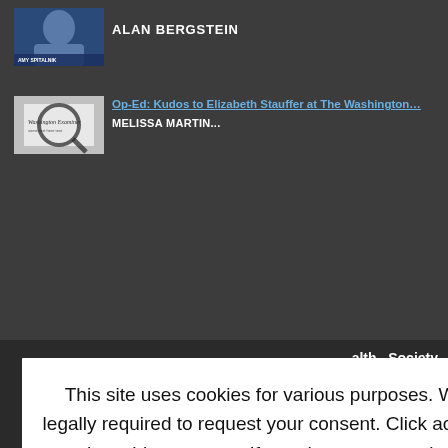ALAN BERGSTEIN
Op-Ed: Kudos to Elizabeth Stauffer at The Washington…
MELISSA MARTIN...
alth   Society
Write for Us - Full
FL 33401, United States of
ct - Editorial Policies -
If you do not agree, please
This site uses cookies for various purposes. We're legally required to request your consent. Click accept to close this message. If you do not agree, please immediately exit the service or click more to learn why.
Accept
More